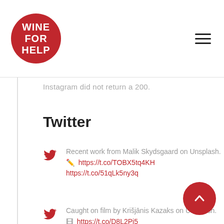WINE FOR HELP
Instagram did not return a 200.
Twitter
Recent work from Malik Skydsgaard on Unsplash. 🖊 https://t.co/TOBX5tq4KH https://t.co/51qLk5ny3q
Caught on film by Krišjānis Kazaks on Unsplash. 🎞 https://t.co/D8L2Pj5... https://t.co/goRQQ84Uey